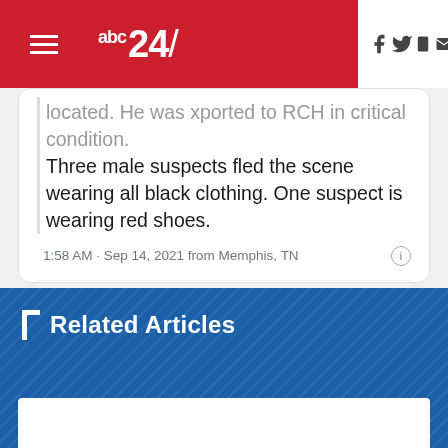abc24
located. He was xported to RCH in critical condition.
Three male suspects fled the scene wearing all black clothing. One suspect is wearing red shoes.
1:58 AM · Sep 14, 2021 from Memphis, TN
Read the full conversation on Twitter
♥ 9   Reply   Copy link
Read 2 replies
Related Articles